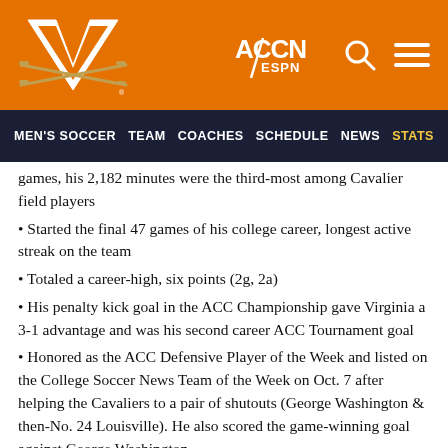[Figure (logo): University of Virginia Cavaliers logo (V with crossed sabers) on orange background header with ACCN ESPN logo and search/menu icons]
MEN'S SOCCER   TEAM   COACHES   SCHEDULE   NEWS   STATS
games, his 2,182 minutes were the third-most among Cavalier field players
Started the final 47 games of his college career, longest active streak on the team
Totaled a career-high, six points (2g, 2a)
His penalty kick goal in the ACC Championship gave Virginia a 3-1 advantage and was his second career ACC Tournament goal
Honored as the ACC Defensive Player of the Week and listed on the College Soccer News Team of the Week on Oct. 7 after helping the Cavaliers to a pair of shutouts (George Washington & then-No. 24 Louisville). He also scored the game-winning goal against George Washington